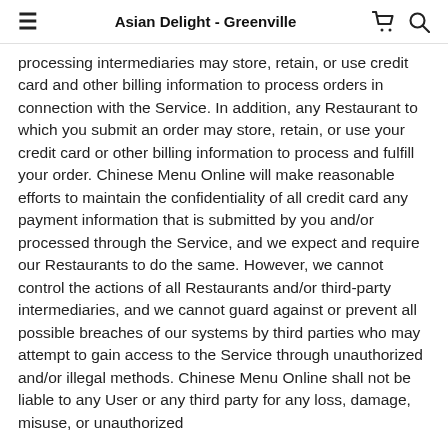Asian Delight - Greenville
processing intermediaries may store, retain, or use credit card and other billing information to process orders in connection with the Service. In addition, any Restaurant to which you submit an order may store, retain, or use your credit card or other billing information to process and fulfill your order. Chinese Menu Online will make reasonable efforts to maintain the confidentiality of all credit card any payment information that is submitted by you and/or processed through the Service, and we expect and require our Restaurants to do the same. However, we cannot control the actions of all Restaurants and/or third-party intermediaries, and we cannot guard against or prevent all possible breaches of our systems by third parties who may attempt to gain access to the Service through unauthorized and/or illegal methods. Chinese Menu Online shall not be liable to any User or any third party for any loss, damage, misuse, or unauthorized